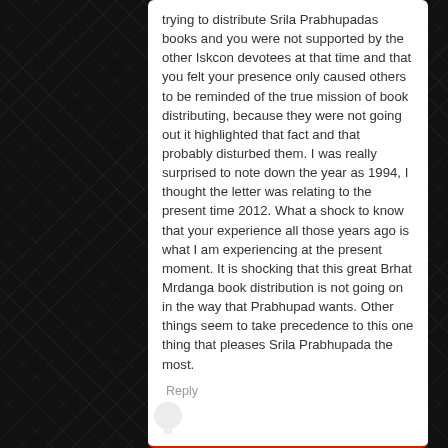trying to distribute Srila Prabhupadas books and you were not supported by the other Iskcon devotees at that time and that you felt your presence only caused others to be reminded of the true mission of book distributing, because they were not going out it highlighted that fact and that probably disturbed them. I was really surprised to note down the year as 1994, I thought the letter was relating to the present time 2012. What a shock to know that your experience all those years ago is what I am experiencing at the present moment. It is shocking that this great Brhat Mrdanga book distribution is not going on in the way that Prabhupad wants. Other things seem to take precedence to this one thing that pleases Srila Prabhupada the most.
Reply